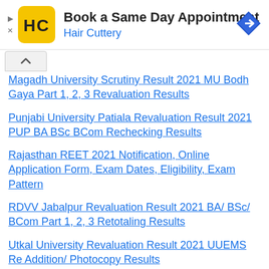[Figure (screenshot): Hair Cuttery advertisement banner with logo, text 'Book a Same Day Appointment', 'Hair Cuttery', and a blue diamond direction arrow icon]
Magadh University Scrutiny Result 2021 MU Bodh Gaya Part 1, 2, 3 Revaluation Results
Punjabi University Patiala Revaluation Result 2021 PUP BA BSc BCom Rechecking Results
Rajasthan REET 2021 Notification, Online Application Form, Exam Dates, Eligibility, Exam Pattern
RDVV Jabalpur Revaluation Result 2021 BA/ BSc/ BCom Part 1, 2, 3 Retotaling Results
Utkal University Revaluation Result 2021 UUEMS Re Addition/ Photocopy Results